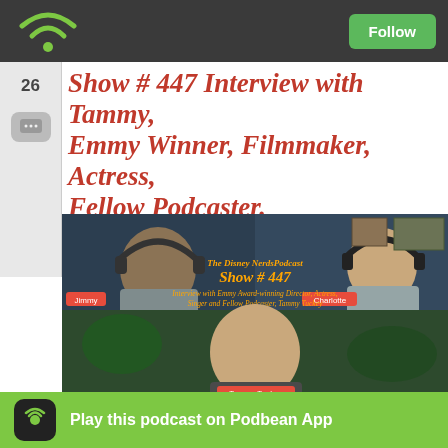Follow
Show # 447 Interview with Tammy, Emmy Winner, Filmmaker, Actress, Fellow Podcaster.
Posted by TheDisneyNerdsPodcast in entertainment, Magic Great Moments with Mr. Lincoln, Disney, Disney Nerds, bro
[Figure (screenshot): Video podcast thumbnail showing hosts Jimmy and Charlotte with guest Tammy Tuckey. Text overlay: The Disney NerdsPodcast Show # 447, Interview with Emmy Award-winning Director, Actress, Singer and Fellow Podcaster, Tammy Tuckey.]
Join us this week as Jimmy and Charlotte bring us an interview with E actress, podcaster and singer Tammy Tuckey. This is a fun interview w parts of Tammy's career and aspirations. Tammy has done so much mor else that has d really
Play this podcast on Podbean App